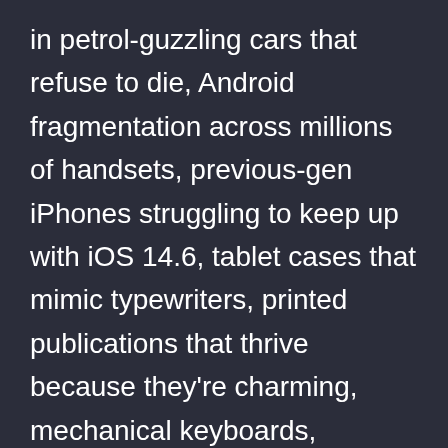in petrol-guzzling cars that refuse to die, Android fragmentation across millions of handsets, previous-gen iPhones struggling to keep up with iOS 14.6, tablet cases that mimic typewriters, printed publications that thrive because they're charming, mechanical keyboards, mechanical watches, and other such affectations.
Technology influences and is influenced by policy and society. Sometimes we keep loving old toys because we are human. This what makes my world.